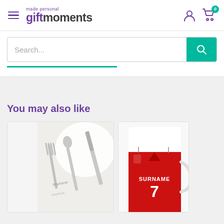gift moments - made personal
Search...
You may also like
[Figure (photo): Personalized cutlery set (fork, spoon, knife) with 'Stephanie' engraved on handles, on a white background]
[Figure (photo): Personalized football mug with red jersey design showing 'SURNAME' and number 7]